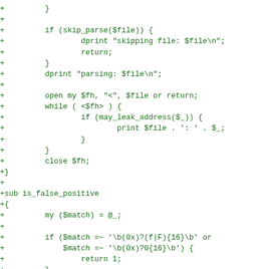+         }
+
+         if (skip_parse($file)) {
+                 dprint "skipping file: $file\n";
+                 return;
+         }
+         dprint "parsing: $file\n";
+
+         open my $fh, "<", $file or return;
+         while ( <$fh> ) {
+                 if (may_leak_address($_)) {
+                         print $file . ': ' . $_;
+                 }
+         }
+         close $fh;
+}
+
+sub is_false_positive
+{
+         my ($match) = @_;
+
+         if ($match =~ '\b(0x)?(f|F){16}\b' or
+             $match =~ '\b(0x)?0{16}\b') {
+                 return 1;
+         }
+
+         # vsyscall memory region, we should probably check against a range here.
+         if ($match =~ '\bf{10}600000\b' or
+             $match =~ '\bf{10}601000\b') {